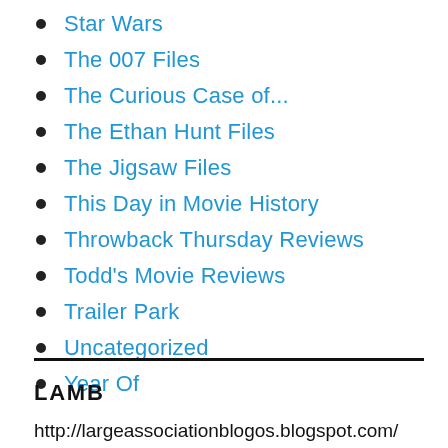Star Wars
The 007 Files
The Curious Case of...
The Ethan Hunt Files
The Jigsaw Files
This Day in Movie History
Throwback Thursday Reviews
Todd's Movie Reviews
Trailer Park
Uncategorized
Year Of
LAMB
http://largeassociationblogos.blogspot.com/